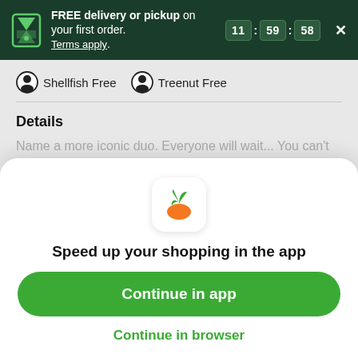FREE delivery or pickup on your first order. Terms apply. 11 : 59 : 58
Shellfish Free   Treenut Free
Details
Name a more iconic duo. Everyone will wait... You can't beat the old-fashioned, match made in heaven when it comes to creamy milk chocolate combined with
View more
[Figure (logo): Instacart carrot app icon — green leaves with orange carrot base on white rounded square background]
Speed up your shopping in the app
Continue in app
Continue in browser